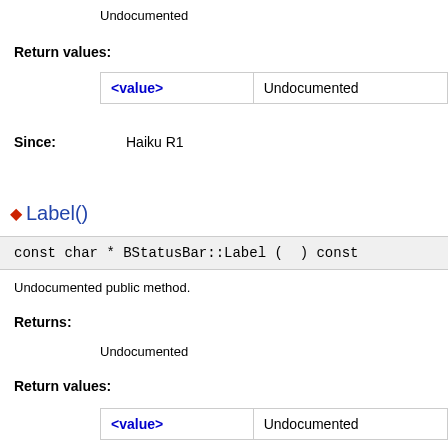Undocumented
Return values:
| <value> |  |
| --- | --- |
| <value> | Undocumented |
Since: Haiku R1
◆ Label()
const char * BStatusBar::Label (  ) const
Undocumented public method.
Returns:
Undocumented
Return values:
| <value> |  |
| --- | --- |
| <value> | Undocumented |